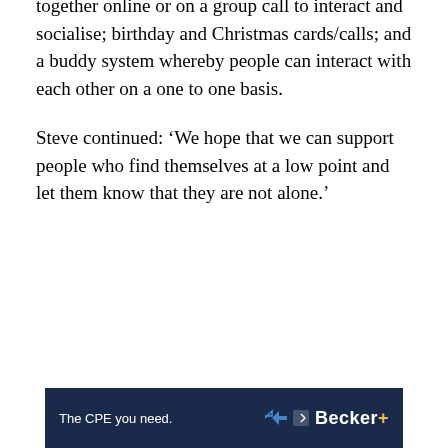together online or on a group call to interact and socialise; birthday and Christmas cards/calls; and a buddy system whereby people can interact with each other on a one to one basis.
Steve continued: ‘We hope that we can support people who find themselves at a low point and let them know that they are not alone.’
[Figure (other): Advertisement banner for Becker CPE services with dark navy background. Left side reads 'The CPE you need.' in white text. Right side shows 'Becker' logo in white bold text with a yellow plus symbol. Navigation arrows visible in top right corner.]